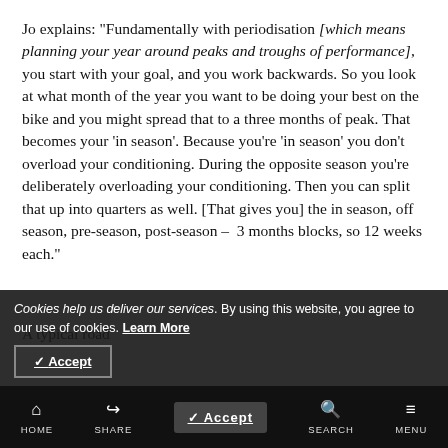Jo explains: "Fundamentally with periodisation [which means planning your year around peaks and troughs of performance], you start with your goal, and you work backwards. So you look at what month of the year you want to be doing your best on the bike and you might spread that to a three months of peak. That becomes your 'in season'. Because you're 'in season' you don't overload your conditioning. During the opposite season you're deliberately overloading your conditioning. Then you can split that up into quarters as well. [That gives you] the in season, off season, pre-season, post-season – 3 months blocks, so 12 weeks each."
A typical roa...
Cookies help us deliver our services. By using this website, you agree to our use of cookies. Learn More  Accept  HOME  SHARE  SEARCH  MENU